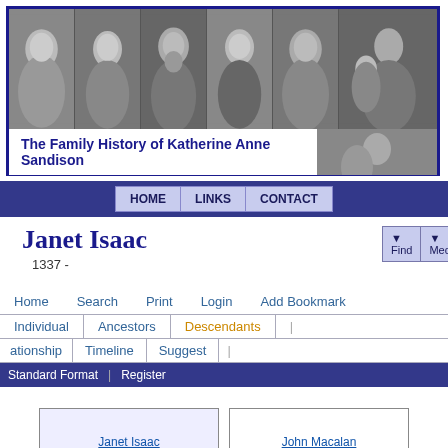[Figure (photo): Header banner with six black-and-white portrait photographs and the text 'The Family History of Katherine Anne Sandison']
The Family History of Katherine Anne Sandison
HOME   LINKS   CONTACT
Janet Isaac
1337 -
Find   Media   Info
Home   Search   Print   Login   Add Bookmark
Individual   |   Ancestors   |   Descendants   |
ationship   |   Timeline   |   Suggest   |
Standard Format   |   Register
Janet Isaac
John Macalan